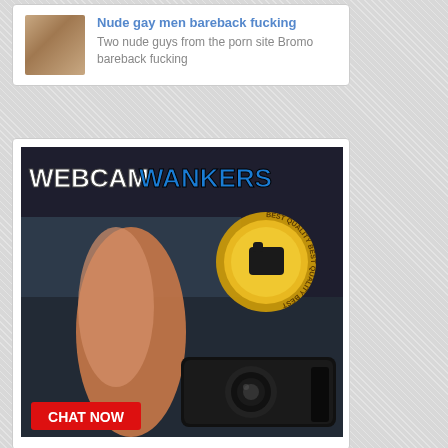Nude gay men bareback fucking
Two nude guys from the porn site Bromo bareback fucking
[Figure (photo): WebcamWankers advertisement banner with 'CHAT NOW' button]